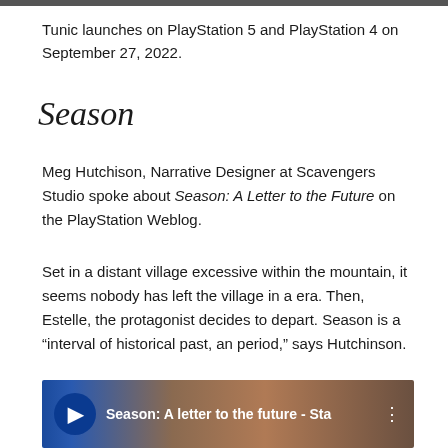Tunic launches on PlayStation 5 and PlayStation 4 on September 27, 2022.
Season
Meg Hutchison, Narrative Designer at Scavengers Studio spoke about Season: A Letter to the Future on the PlayStation Weblog.
Set in a distant village excessive within the mountain, it seems nobody has left the village in a era. Then, Estelle, the protagonist decides to depart. Season is a “interval of historical past, an period,” says Hutchinson.
[Figure (screenshot): PlayStation Weblog video thumbnail showing Season: A letter to the future - Sta with PlayStation logo on the left]